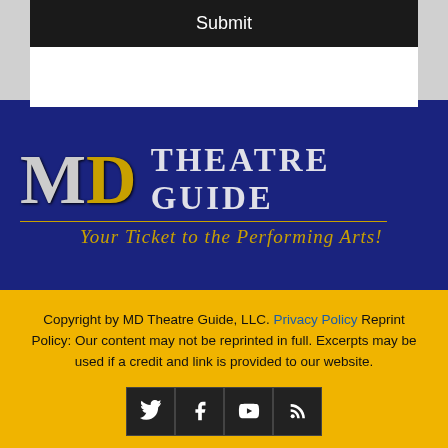Submit
[Figure (logo): MD Theatre Guide logo — stylized M D letters with 'THEATRE GUIDE' text and tagline 'Your Ticket to the Performing Arts!' on dark navy background]
Copyright by MD Theatre Guide, LLC. Privacy Policy Reprint Policy: Our content may not be reprinted in full. Excerpts may be used if a credit and link is provided to our website.
[Figure (other): Social media icons: Twitter, Facebook, YouTube, RSS on dark background]